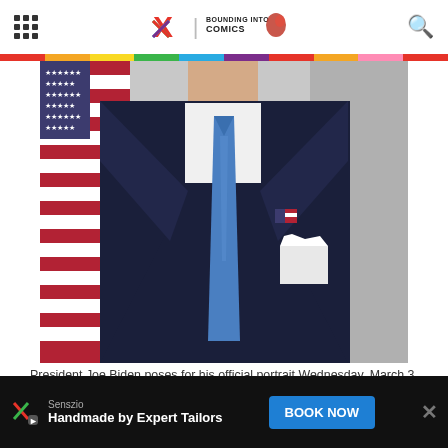Bounding Into Comics — navigation header with menu, logos, and search
[Figure (photo): Torso and chest of President Joe Biden in a dark navy suit, blue tie, white pocket square, and American flag pin, posed in front of an American flag and a gray background — cropped official White House portrait photo.]
President Joe Biden poses for his official portrait Wednesday, March 3, 2021, in the Library of the White House. (Official White House Photo by Adam Schultz)
Senszio — Handmade by Expert Tailors — BOOK NOW (advertisement)